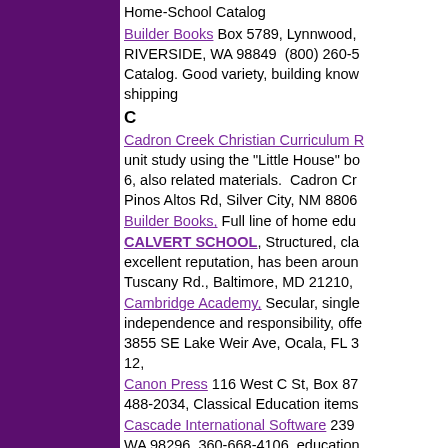Home-School Catalog
Builder Books Box 5789, Lynnwood, RIVERSIDE, WA 98849 (800) 260-5... Catalog. Good variety, building know... shipping
C
Cadron Creek Christian Curriculum R... unit study using the "Little House" bo... 6, also related materials. Cadron Cr... Pinos Altos Rd, Silver City, NM 8806...
Builder Books, Full line of home edu...
CALVERT SCHOOL, Structured, cla... excellent reputation, has been aroun... Tuscany Rd., Baltimore, MD 21210, ...
Cambridge Academy, Secular, single... independence and responsibility, offe... 3855 SE Lake Weir Ave, Ocala, FL 3... 12,
Canon Press 116 West C St, Box 87... 488-2034, Classical Education items...
Cascade International Software 239... WA 98296, 360-668-4106, education... world: art, business, geography, hist... mostly on CDs
Castlemoyle Books - publisher of ho...